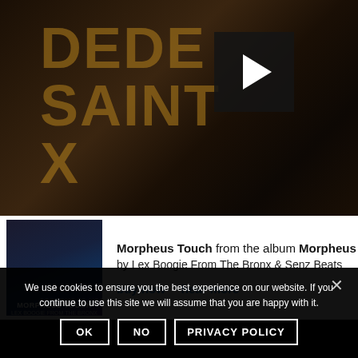[Figure (screenshot): Dark video thumbnail showing a record store scene with text overlay 'DEDE SAINT X' and a play button in the center-right area]
Morpheus Touch from the album Morpheus To... by Lex Boogie From The Bronx & Senz Beats
buy now    hear more
We use cookies to ensure you the best experience on our website. If you continue to use this site we will assume that you are happy with it.
OK  NO  PRIVACY POLICY